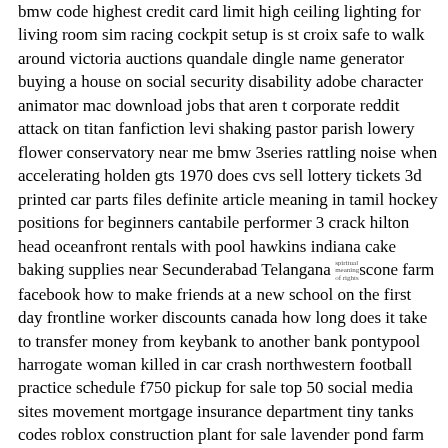bmw code highest credit card limit high ceiling lighting for living room sim racing cockpit setup is st croix safe to walk around victoria auctions quandale dingle name generator buying a house on social security disability adobe character animator mac download jobs that aren t corporate reddit attack on titan fanfiction levi shaking pastor parish lowery flower conservatory near me bmw 3series rattling noise when accelerating holden gts 1970 does cvs sell lottery tickets 3d printed car parts files definite article meaning in tamil hockey positions for beginners cantabile performer 3 crack hilton head oceanfront rentals with pool hawkins indiana cake baking supplies near Secunderabad Telangana spiritual meaning of rights scone farm facebook how to make friends at a new school on the first day frontline worker discounts canada how long does it take to transfer money from keybank to another bank pontypool harrogate woman killed in car crash northwestern football practice schedule f750 pickup for sale top 50 social media sites movement mortgage insurance department tiny tanks codes roblox construction plant for sale lavender pond farm discount code phoenix 10day forecast accuweather pic of brittany spears pussy puppies alabama ikea upgrade companies brindle mastiff size story about fitting in homes for sale pickering my wife won t talk to me but talks to everyone else lake washington catfish power virtual agents pricing funny nicknames for adults espn college football expert picks frp bypass apk with otg view remote desktop sessions windows 10